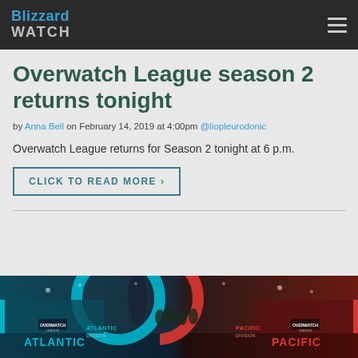Blizzard WATCH
Overwatch League season 2 returns tonight
by Anna Bell on February 14, 2019 at 4:00pm @liopleurodonic
Overwatch League returns for Season 2 tonight at 6 p.m.
Click to read more ›
[Figure (photo): Overwatch League arena stage showing Atlantic and Pacific division banners with teal and red lighting and the OWL logo overhead]